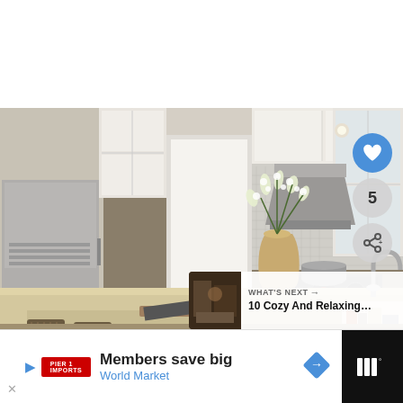[Figure (photo): Kitchen interior photo showing white cabinets, stainless steel refrigerator and range hood, kitchen island with butcher block countertop, floral arrangement in gold vase, stainless steel faucet, yellow pitcher, and patterned bar stools. Mosaic tile backsplash visible behind range.]
5
WHAT'S NEXT → 10 Cozy And Relaxing...
Members save big
World Market